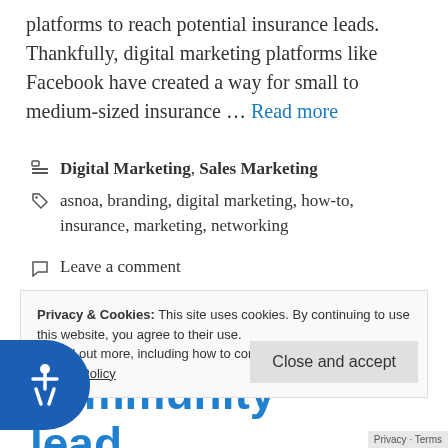platforms to reach potential insurance leads. Thankfully, digital marketing platforms like Facebook have created a way for small to medium-sized insurance … Read more
Categories: Digital Marketing, Sales Marketing
Tags: asnoa, branding, digital marketing, how-to, insurance, marketing, networking
Leave a comment
Privacy & Cookies: This site uses cookies. By continuing to use this website, you agree to their use. To find out more, including how to control cookies, see here: Cookie Policy
Close and accept
Privacy · Terms